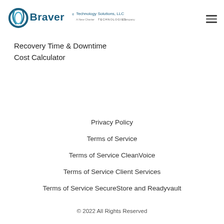[Figure (logo): Braver Technology Solutions, LLC — A New Charter Technologies Company logo with circular swoosh icon]
Recovery Time & Downtime
Cost Calculator
Privacy Policy
Terms of Service
Terms of Service CleanVoice
Terms of Service Client Services
Terms of Service SecureStore and Readyvault
© 2022 All Rights Reserved